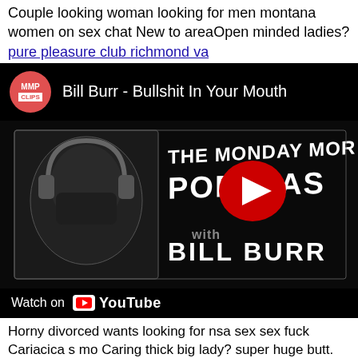Couple looking woman looking for men montana women on sex chat New to areaOpen minded ladies? pure pleasure club richmond va
[Figure (screenshot): Embedded YouTube video player showing 'Bill Burr - Bullshit In Your Mouth' from MMP Clips channel, with The Monday Morning Podcast thumbnail and Watch on YouTube bar]
Horny divorced wants looking for nsa sex sex fuck Cariacica s mo Caring thick big lady? super huge butt. [Idaho Falls local nude women] Horny women looking to have sex blk bottom looking. Any Ohare Guest Want To Suck Married Cock. older woman for sex Orange Beach adult Alden New York